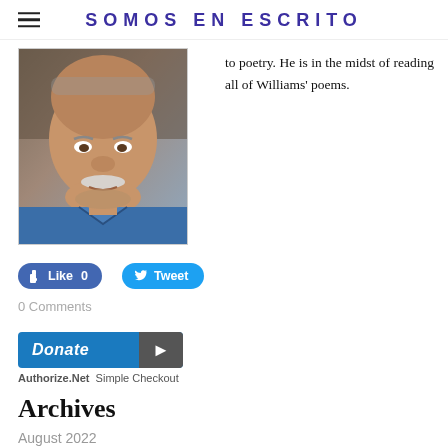SOMOS EN ESCRITO
[Figure (photo): Close-up photo of an older man with a white mustache wearing a blue shirt]
to poetry. He is in the midst of reading all of Williams' poems.
[Figure (infographic): Facebook Like button showing Like 0 and Twitter Tweet button]
0 Comments
[Figure (infographic): Authorize.Net Donate button with Simple Checkout label]
Archives
August 2022